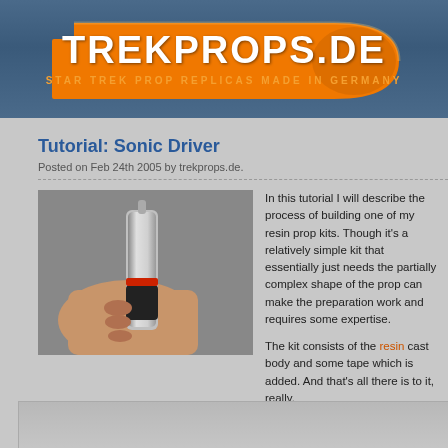[Figure (logo): TREKPROPS.DE logo on blue-gray banner background with orange bracket/shell shape and subtitle 'STAR TREK PROP REPLICAS MADE IN GERMANY']
Tutorial: Sonic Driver
Posted on Feb 24th 2005 by trekprops.de.
[Figure (photo): Hand holding a silver and black sonic screwdriver prop with red tape band]
In this tutorial I will describe the process of building one of my resin prop kits. Though it's a relatively simple kit that essentially just needs the partially complex shape of the prop can make the preparation work and requires some expertise.

The kit consists of the resin cast body and some tape which is added. And that's all there is to it, really.
[Figure (photo): Close-up of a beige/cream sonic screwdriver prop part showing cylindrical body with wrapped tape sections]